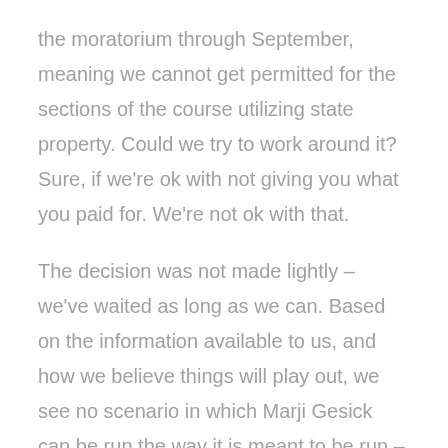the moratorium through September, meaning we cannot get permitted for the sections of the course utilizing state property. Could we try to work around it? Sure, if we're ok with not giving you what you paid for. We're not ok with that.
The decision was not made lightly – we've waited as long as we can. Based on the information available to us, and how we believe things will play out, we see no scenario in which Marji Gesick can be run the way it is meant to be run – together.